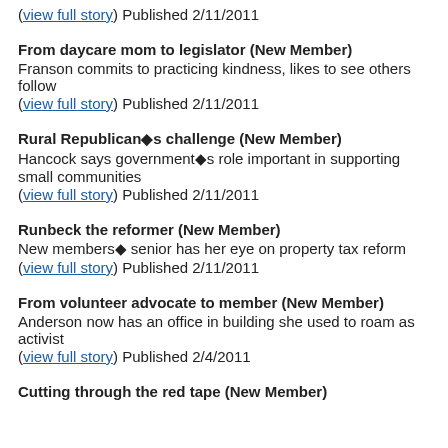(view full story) Published 2/11/2011
From daycare mom to legislator (New Member)
Franson commits to practicing kindness, likes to see others follow
(view full story) Published 2/11/2011
Rural Republican's challenge (New Member)
Hancock says government's role important in supporting small communities
(view full story) Published 2/11/2011
Runbeck the reformer (New Member)
New members' senior has her eye on property tax reform
(view full story) Published 2/11/2011
From volunteer advocate to member (New Member)
Anderson now has an office in building she used to roam as activist
(view full story) Published 2/4/2011
Cutting through the red tape (New Member)